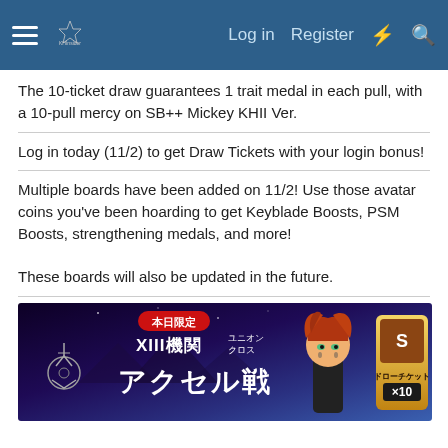KHInsider — Log in | Register
The 10-ticket draw guarantees 1 trait medal in each pull, with a 10-pull mercy on SB++ Mickey KHII Ver.
Log in today (11/2) to get Draw Tickets with your login bonus!
Multiple boards have been added on 11/2! Use those avatar coins you've been hoarding to get Keyblade Boosts, PSM Boosts, strengthening medals, and more!

These boards will also be updated in the future.
[Figure (screenshot): Japanese game banner for Kingdom Hearts Union Cross featuring the Organization XIII Axel battle event (本日限定 XIII機関ユニオンクロス アクセル戦) with draw ticket x10 reward shown]